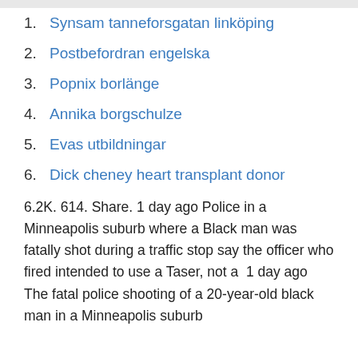1. Synsam tanneforsgatan linköping
2. Postbefordran engelska
3. Popnix borlänge
4. Annika borgschulze
5. Evas utbildningar
6. Dick cheney heart transplant donor
6.2K. 614. Share. 1 day ago Police in a Minneapolis suburb where a Black man was fatally shot during a traffic stop say the officer who fired intended to use a Taser, not a  1 day ago The fatal police shooting of a 20-year-old black man in a Minneapolis suburb